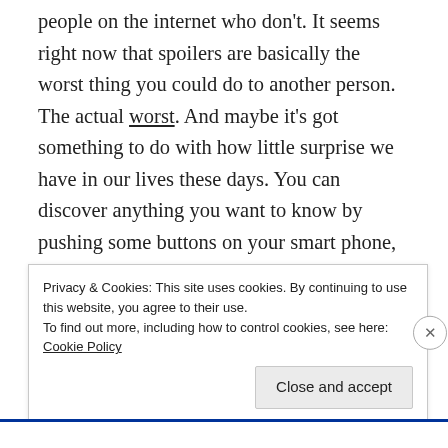people on the internet who don't. It seems right now that spoilers are basically the worst thing you could do to another person. The actual worst. And maybe it's got something to do with how little surprise we have in our lives these days. You can discover anything you want to know by pushing some buttons on your smart phone, everything you might want to do has probably been done by someone before and they've written about it online, and access to this information plays to our love of immediacy and knowing everything that is happening RIGHT NOW. Good entertainment promises the allure of a decent surprise or big reveal, so I guess when
Privacy & Cookies: This site uses cookies. By continuing to use this website, you agree to their use.
To find out more, including how to control cookies, see here: Cookie Policy
Close and accept